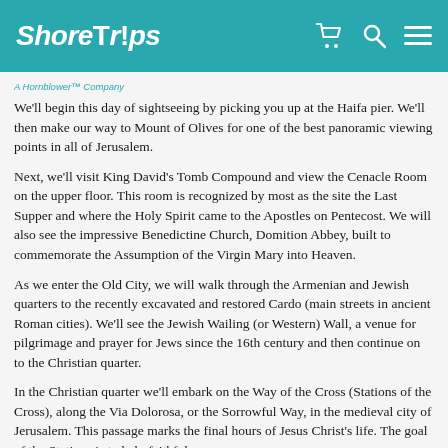[Figure (logo): ShoreTrips logo in white italic text on teal background with shopping cart, search, and menu icons]
A Hornblower™ Company
We'll begin this day of sightseeing by picking you up at the Haifa pier. We'll then make our way to Mount of Olives for one of the best panoramic viewing points in all of Jerusalem.
Next, we'll visit King David's Tomb Compound and view the Cenacle Room on the upper floor. This room is recognized by most as the site the Last Supper and where the Holy Spirit came to the Apostles on Pentecost. We will also see the impressive Benedictine Church, Domition Abbey, built to commemorate the Assumption of the Virgin Mary into Heaven.
As we enter the Old City, we will walk through the Armenian and Jewish quarters to the recently excavated and restored Cardo (main streets in ancient Roman cities). We'll see the Jewish Wailing (or Western) Wall, a venue for pilgrimage and prayer for Jews since the 16th century and then continue on to the Christian quarter.
In the Christian quarter we'll embark on the Way of the Cross (Stations of the Cross), along the Via Dolorosa, or the Sorrowful Way, in the medieval city of Jerusalem. This passage marks the final hours of Jesus Christ's life. The goal of the Stations is to help faithful Christians in their spiritual life by following the steps of...